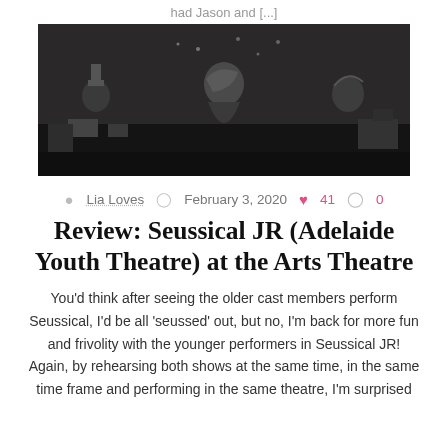had Jason and [...]
[Figure (photo): Black and white photo of performers on stage in costumes, appearing to be from a theatrical production of Seussical JR]
Lia Loves  February 3, 2020  41  0
Review: Seussical JR (Adelaide Youth Theatre) at the Arts Theatre
You'd think after seeing the older cast members perform Seussical, I'd be all 'seussed' out, but no, I'm back for more fun and frivolity with the younger performers in Seussical JR! Again, by rehearsing both shows at the same time, in the same time frame and performing in the same theatre, I'm surprised